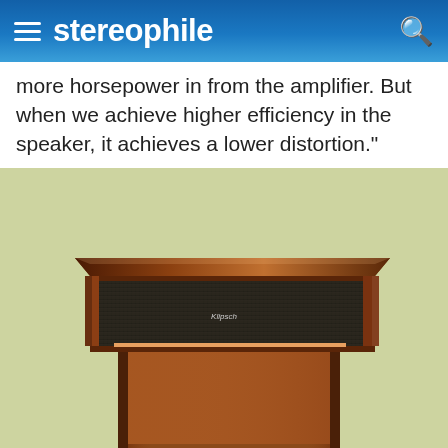stereophile
more horsepower in from the amplifier. But when we achieve higher efficiency in the speaker, it achieves a lower distortion."
[Figure (photo): A Klipsch loudspeaker with walnut wood cabinet and dark mesh grille, shown from the front at a slight angle. The speaker has a wide upper section with the grille cloth and a narrower lower cabinet section, both in warm walnut veneer finish.]